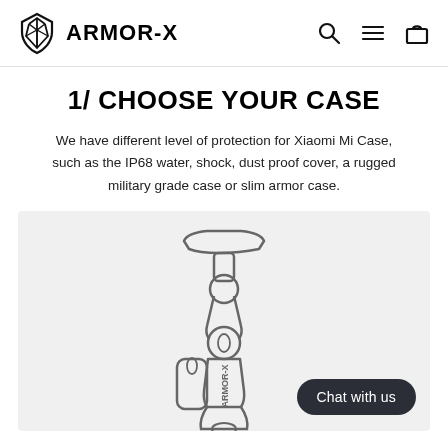ARMOR-X
1/ CHOOSE YOUR CASE
We have different level of protection for Xiaomi Mi Case, such as the IP68 water, shock, dust proof cover, a rugged military grade case or slim armor case.
[Figure (illustration): Line drawing illustration of an ARMOR-X phone mount/holder accessory with articulating arm and mount head, on a light gray background. A dark pill-shaped 'Chat with us' button appears in the bottom right corner.]